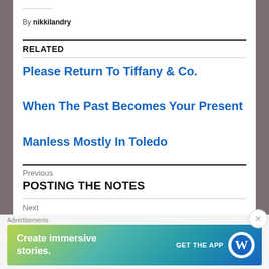By nikkilandry
RELATED
Please Return To Tiffany & Co.
When The Past Becomes Your Present
Manless Mostly In Toledo
Previous
POSTING THE NOTES
Next
[Figure (infographic): WordPress advertisement banner with text 'Create immersive stories.' and 'GET THE APP' with WordPress logo]